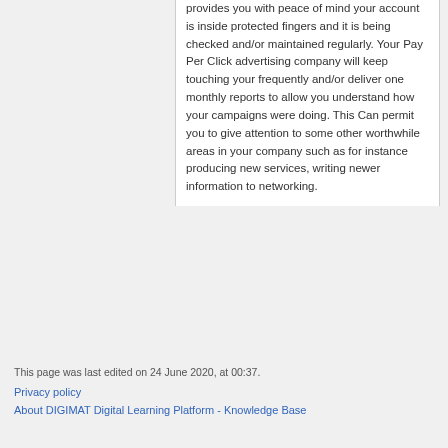provides you with peace of mind your account is inside protected fingers and it is being checked and/or maintained regularly. Your Pay Per Click advertising company will keep touching your frequently and/or deliver one monthly reports to allow you understand how your campaigns were doing. This Can permit you to give attention to some other worthwhile areas in your company such as for instance producing new services, writing newer information to networking.
This page was last edited on 24 June 2020, at 00:37.
Privacy policy
About DIGIMAT Digital Learning Platform - Knowledge Base